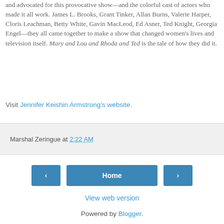and advocated for this provocative show—and the colorful cast of actors who made it all work. James L. Brooks, Grant Tinker, Allan Burns, Valerie Harper, Cloris Leachman, Betty White, Gavin MacLeod, Ed Asner, Ted Knight, Georgia Engel—they all came together to make a show that changed women's lives and television itself. Mary and Lou and Rhoda and Ted is the tale of how they did it.
Visit Jennifer Keishin Armstrong's website.
Marshal Zeringue at 2:22 AM
Home
View web version
Powered by Blogger.